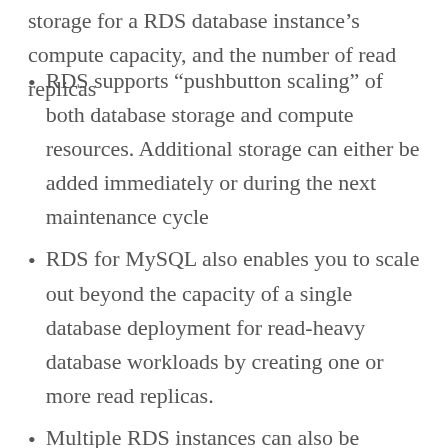storage for a RDS database instance's compute capacity, and the number of read replicas
RDS supports “pushbutton scaling” of both database storage and compute resources. Additional storage can either be added immediately or during the next maintenance cycle
RDS for MySQL also enables you to scale out beyond the capacity of a single database deployment for read-heavy database workloads by creating one or more read replicas.
Multiple RDS instances can also be configured to leverage database partitioning or sharding to spread the workload over multiple DB instances